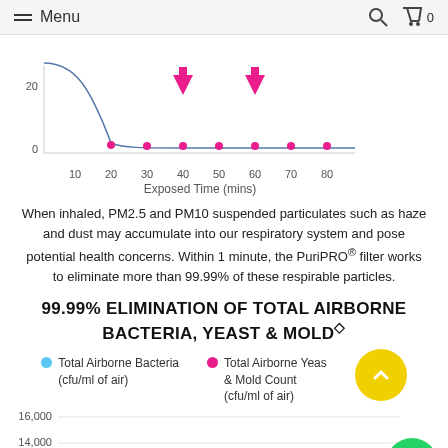Menu  [search icon]  [cart icon] 0
[Figure (continuous-plot): Line chart showing PM2.5 particle reduction over exposed time (mins). X-axis: 10 to 80 mins. Y-axis: 0 to 20 PM2. Two pink downward arrows at 40 and 60 minutes. The line drops steeply from top-left and then levels near 0 with small pink dots at 20, 30, 40, 50, 60, 70, 80 mins.]
When inhaled, PM2.5 and PM10 suspended particulates such as haze and dust may accumulate into our respiratory system and pose potential health concerns. Within 1 minute, the PuriPRO® filter works to eliminate more than 99.99% of these respirable particles.
99.99% ELIMINATION OF TOTAL AIRBORNE BACTERIA, YEAST & MOLD◇
[Figure (continuous-plot): Legend and partial bar/line chart showing Total Airborne Bacteria (cfu/ml of air) in blue and Total Airborne Yeast & Mold Count (cfu/ml of air) in pink. Y-axis labels: 16,000, 14,000, 12,000. Pink text says 99.99% Elimination.]